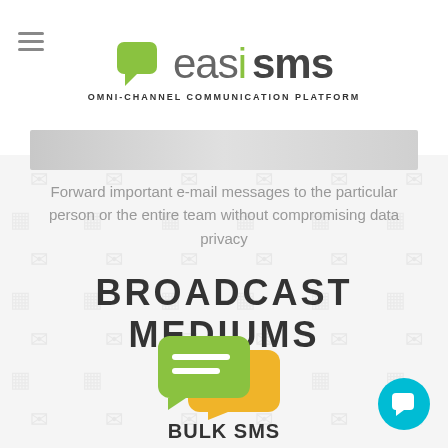[Figure (logo): easiSMS logo with speech bubble icon and tagline OMNI-CHANNEL COMMUNICATION PLATFORM]
[Figure (photo): Gray gradient image bar, partial screenshot of email interface]
Forward important e-mail messages to the particular person or the entire team without compromising data privacy
BROADCAST MEDIUMS
[Figure (illustration): Two overlapping chat bubble icons in green and yellow with white lines]
BULK SMS